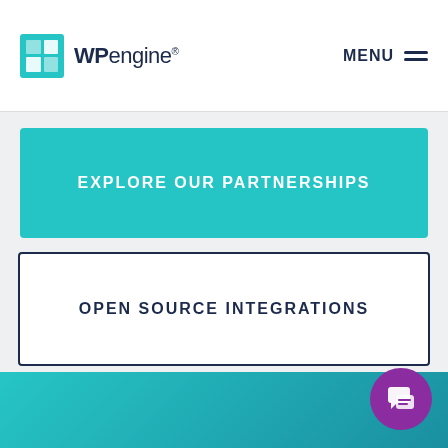WP engine® MENU
EXPLORE OUR PARTNERSHIPS
OPEN SOURCE INTEGRATIONS
INTEGRATED SOLUTIONS